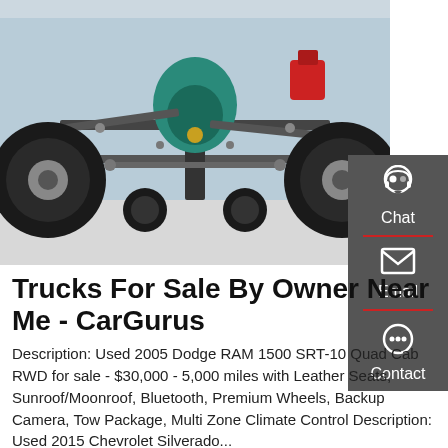[Figure (photo): Undercarriage view of a truck, showing the chassis, axle, wheels, tires, and a teal-colored component in the center, viewed from below.]
Trucks For Sale By Owner Near Me - CarGurus
Description: Used 2005 Dodge RAM 1500 SRT-10 Quad Cab RWD for sale - $30,000 - 5,000 miles with Leather Seats, Sunroof/Moonroof, Bluetooth, Premium Wheels, Backup Camera, Tow Package, Multi Zone Climate Control Description: Used 2015 Chevrolet Silverado...